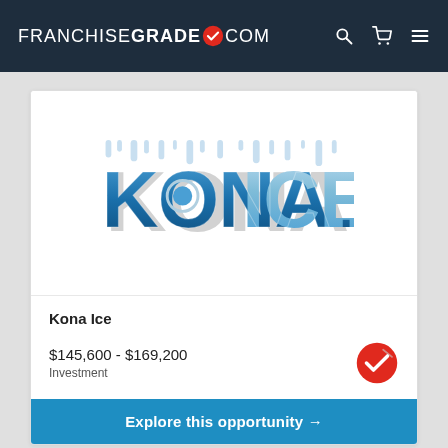FRANCHISEGRADE.COM
[Figure (logo): Kona Ice branded logo with icy blue lettering and frozen drip effect on white background]
Kona Ice
$145,600 - $169,200 Investment
Explore this opportunity →